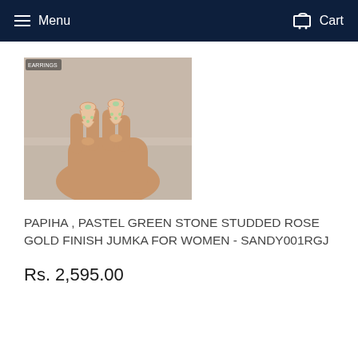Menu   Cart
[Figure (photo): A hand holding a pair of rose gold finish jhumka earrings with pastel green stones, photographed against a blurred background of shelves.]
PAPIHA , PASTEL GREEN STONE STUDDED ROSE GOLD FINISH JUMKA FOR WOMEN - SANDY001RGJ
Rs. 2,595.00